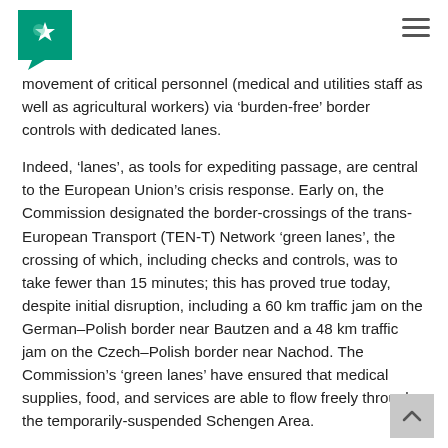Logo and navigation menu
movement of critical personnel (medical and utilities staff as well as agricultural workers) via ‘burden-free’ border controls with dedicated lanes.
Indeed, ‘lanes’, as tools for expediting passage, are central to the European Union’s crisis response. Early on, the Commission designated the border-crossings of the trans-European Transport (TEN-T) Network ‘green lanes’, the crossing of which, including checks and controls, was to take fewer than 15 minutes; this has proved true today, despite initial disruption, including a 60 km traffic jam on the German–Polish border near Bautzen and a 48 km traffic jam on the Czech–Polish border near Nachod. The Commission’s ‘green lanes’ have ensured that medical supplies, food, and services are able to flow freely through the temporarily-suspended Schengen Area.